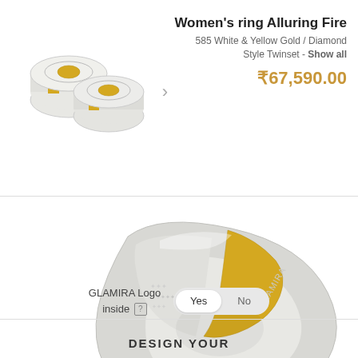[Figure (photo): Two women's rings in 585 White & Yellow Gold with Diamond, shown as small thumbnails in top-left area]
Women's ring Alluring Fire
585 White & Yellow Gold / Diamond Style Twinset - Show all
₹67,590.00
[Figure (photo): Close-up macro photo of the Alluring Fire ring showing white gold and yellow gold band with diamond detailing and GLAMIRA engraving]
GLAMIRA Logo inside [?]
DESIGN YOUR